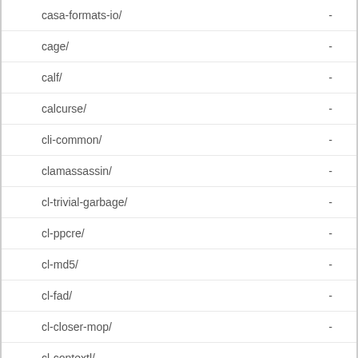casa-formats-io/ -
cage/ -
calf/ -
calcurse/ -
cli-common/ -
clamassassin/ -
cl-trivial-garbage/ -
cl-ppcre/ -
cl-md5/ -
cl-fad/ -
cl-closer-mop/ -
cl-contextl/ -
cl-chunga/ -
cl-chipz/ -
citeproc-py/ -
clpeak/ -